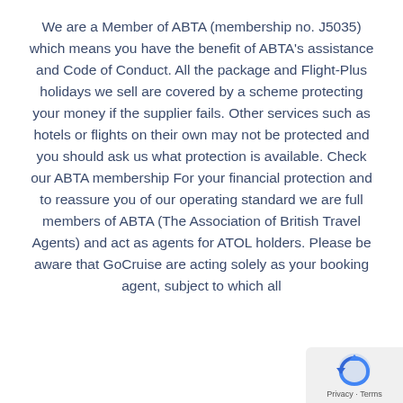We are a Member of ABTA (membership no. J5035) which means you have the benefit of ABTA's assistance and Code of Conduct. All the package and Flight-Plus holidays we sell are covered by a scheme protecting your money if the supplier fails. Other services such as hotels or flights on their own may not be protected and you should ask us what protection is available. Check our ABTA membership For your financial protection and to reassure you of our operating standard we are full members of ABTA (The Association of British Travel Agents) and act as agents for ATOL holders. Please be aware that GoCruise are acting solely as your booking agent, subject to which all
[Figure (logo): Privacy badge icon in bottom-right corner with reCAPTCHA-style logo and 'Privacy - Terms' text]